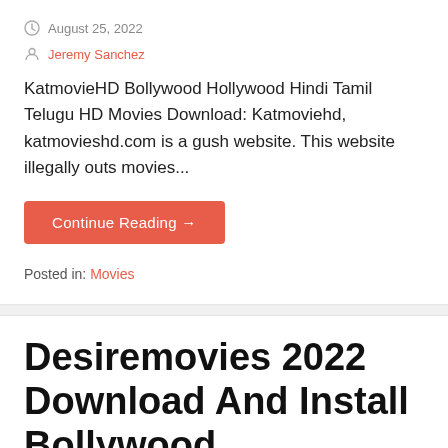August 25, 2022
Jeremy Sanchez
KatmovieHD Bollywood Hollywood Hindi Tamil Telugu HD Movies Download: Katmoviehd, katmovieshd.com is a gush website. This website illegally outs movies...
Continue Reading →
Posted in: Movies
Desiremovies 2022 Download And Install Bollywood, Hollywood Movies desiremovies.com